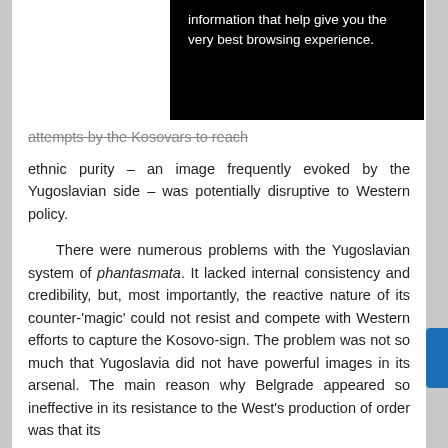[Figure (screenshot): Black browser cookie/privacy notification overlay with white text: 'information that help give you the very best browsing experience.']
attempts by the Kosovars to reach ethnic purity – an image frequently evoked by the Yugoslavian side – was potentially disruptive to Western policy.

There were numerous problems with the Yugoslavian system of phantasmata. It lacked internal consistency and credibility, but, most importantly, the reactive nature of its counter-'magic' could not resist and compete with Western efforts to capture the Kosovo-sign. The problem was not so much that Yugoslavia did not have powerful images in its arsenal. The main reason why Belgrade appeared so ineffective in its resistance to the West's production of order was that its